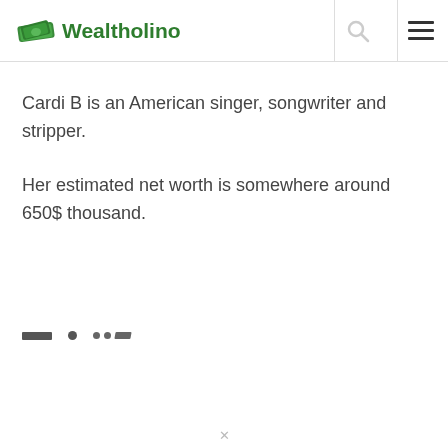Wealtholino
Cardi B is an American singer, songwriter and stripper.
Her estimated net worth is somewhere around 650$ thousand.